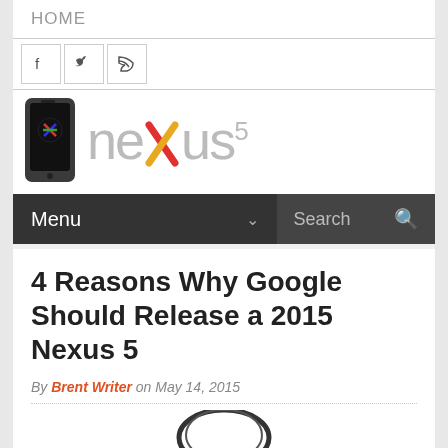HOME
[Figure (screenshot): Social media icons: Facebook, Twitter, RSS]
[Figure (logo): Nexus 5 website logo with phone icon and stylized 'nexus5' text]
Menu  Search
4 Reasons Why Google Should Release a 2015 Nexus 5
By Brent Writer on May 14, 2015
[Figure (photo): Bottom portion of a Nexus 5 phone, partially visible]